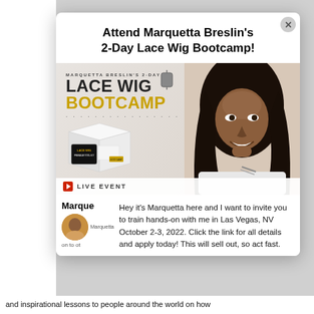Attend Marquetta Breslin's 2-Day Lace Wig Bootcamp!
[Figure (photo): Promotional image for Marquetta Breslin's 2-Day Lace Wig Bootcamp. Shows 'LACE WIG BOOTCAMP' text with a product box (Lace Wig Premium Tool Kit) and a smiling woman with long dark wavy hair. Live Event label at bottom.]
Marque
Hey it's Marquetta here and I want to invite you to train hands-on with me in Las Vegas, NV October 2-3, 2022. Click the link for all details and apply today! This will sell out, so act fast.
Marquetta
on to ot
and inspirational lessons to people around the world on how